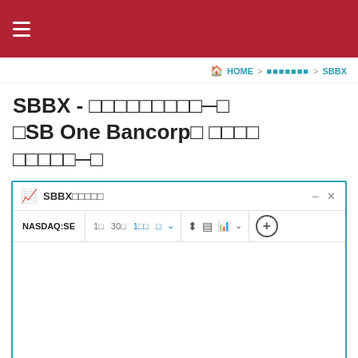≡ (hamburger menu)
🏠 HOME > □□□□□□□ > SBBX
SBBX - □□□□□□□□□—□□SB One Bancorp□ □□□□□□□□□□□—□
[Figure (screenshot): Stock chart widget for SBBX with toolbar showing NASDAQ:SE label, time interval buttons (1□, 30□, 1□□, □), chart type icons, and a + button. Chart area is blank/loading.]